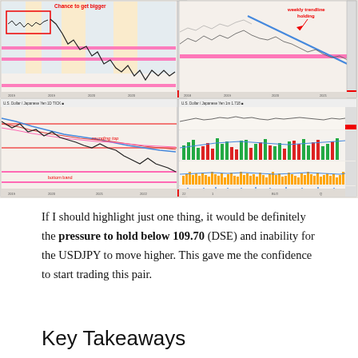[Figure (continuous-plot): Four financial trading charts arranged in a 2x2 grid showing USDJPY currency pair analysis. Top-left: weekly/daily candlestick chart with pink horizontal support/resistance lines, yellow/blue shaded regions, red rectangle labeled 'Chance to get bigger'. Top-right: higher timeframe chart with blue diagonal trendline labeled 'weekly trendline holding', pink horizontal line, price action. Bottom-left: daily chart with moving averages (blue, red, pink), red horizontal lines, annotation 'rounding top', pink support band labeled 'bottom band'. Bottom-right: multi-panel chart with candlestick price, green/red/yellow volume bars, orange bar indicator, and scatter/dot plot at bottom.]
If I should highlight just one thing, it would be definitely the pressure to hold below 109.70 (DSE) and inability for the USDJPY to move higher. This gave me the confidence to start trading this pair.
Key Takeaways